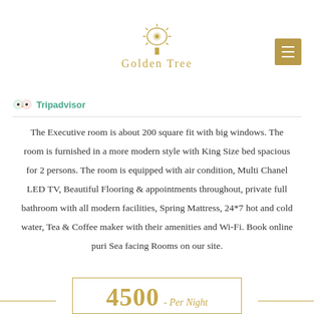[Figure (logo): Golden Tree hotel logo with stylized golden tree icon above text 'Golden Tree']
[Figure (logo): Tripadvisor logo with owl icon and green 'Tripadvisor' text]
The Executive room is about 200 square fit with big windows. The room is furnished in a more modern style with King Size bed spacious for 2 persons. The room is equipped with air condition, Multi Chanel LED TV, Beautiful Flooring & appointments throughout, private full bathroom with all modern facilities, Spring Mattress, 24*7 hot and cold water, Tea & Coffee maker with their amenities and Wi-Fi. Book online puri Sea facing Rooms on our site.
4500 - Per Night